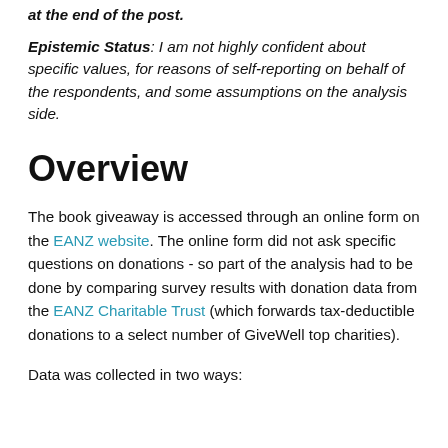at the end of the post.
Epistemic Status: I am not highly confident about specific values, for reasons of self-reporting on behalf of the respondents, and some assumptions on the analysis side.
Overview
The book giveaway is accessed through an online form on the EANZ website. The online form did not ask specific questions on donations - so part of the analysis had to be done by comparing survey results with donation data from the EANZ Charitable Trust (which forwards tax-deductible donations to a select number of GiveWell top charities).
Data was collected in two ways: